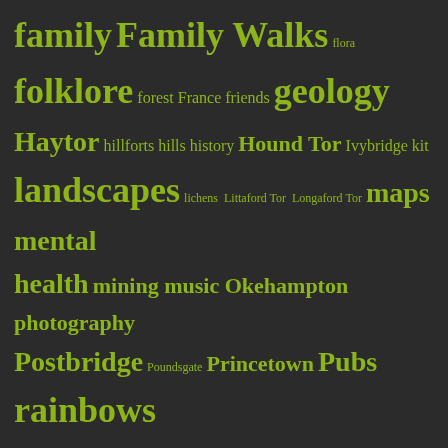[Figure (infographic): Tag cloud / word cloud with Dartmoor-related terms in various sizes on a dark background. Terms in yellow-green color, larger text indicates more frequent tags. Words include: family, Family Walks, flora, folklore, forest, France, friends, geology, Haytor, hillforts, hills, history, Hound Tor, Ivybridge, kit, landscapes, lichens, Littaford Tor, Longaford Tor, maps, mental health, mining, music, Okehampton, photography, Postbridge, Poundsgate, Princetown, Pubs, rainbows, reservoirs, Rippon Tor, rivers, river Swincombe, river Teign, scratch map, Sharp Tor, Sigford, Sourton, South Brent, south Dartmoor, spring, stone circles, sunset, tormentil, Two Moors Way, walking, Warren House Inn, waterfall, Widecombe, wind, winter, Wistmans Wood, woodland, Yar Tor]